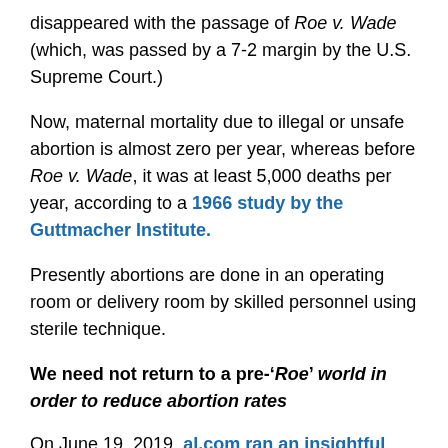disappeared with the passage of Roe v. Wade (which, was passed by a 7-2 margin by the U.S. Supreme Court.)
Now, maternal mortality due to illegal or unsafe abortion is almost zero per year, whereas before Roe v. Wade, it was at least 5,000 deaths per year, according to a 1966 study by the Guttmacher Institute.
Presently abortions are done in an operating room or delivery room by skilled personnel using sterile technique.
We need not return to a pre-'Roe' world in order to reduce abortion rates
On June 19, 2019, al.com ran an insightful article by Ben Baxter who was born to his teenage mother in the "abortion landscape of the 1980's". Mr. Baxter quotes many statistics documenting marked decrease in the